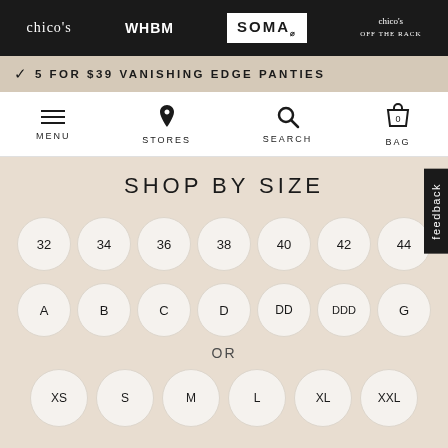chico's | WHBM | SOMA | chico's OFF THE RACK
5 FOR $39 VANISHING EDGE PANTIES
MENU | STORES | SEARCH | BAG (0)
SHOP BY SIZE
32, 34, 36, 38, 40, 42, 44
A, B, C, D, DD, DDD, G
OR
XS, S, M, L, XL, XXL